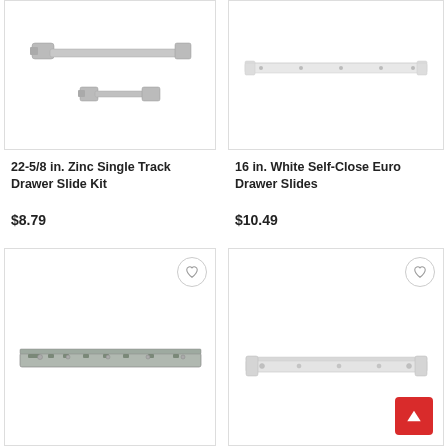[Figure (photo): 22-5/8 in. Zinc Single Track Drawer Slide Kit product photo showing metal track and brackets]
22-5/8 in. Zinc Single Track Drawer Slide Kit
$8.79
[Figure (photo): 16 in. White Self-Close Euro Drawer Slides product photo showing white elongated rail]
16 in. White Self-Close Euro Drawer Slides
$10.49
[Figure (photo): Drawer slide product photo showing silver/steel track rail]
[Figure (photo): Drawer slide product photo showing white/light colored slide rail]